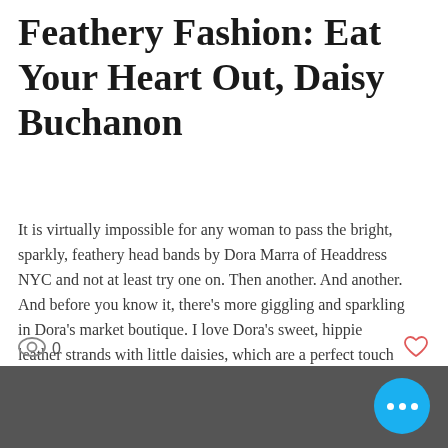Feathery Fashion: Eat Your Heart Out, Daisy Buchanon
It is virtually impossible for any woman to pass the bright, sparkly, feathery head bands by Dora Marra of Headdress NYC and not at least try one on. Then another. And another. And before you know it, there’s more giggling and sparkling in Dora’s market boutique. I love Dora’s sweet, hippie leather strands with little daisies, which are a perfect touch for spring and summer. Her floral head bands with roses and peonies are fun and girly. And definitely try on a stylish floral